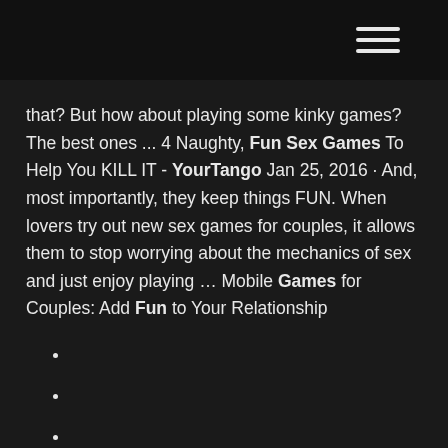that? But how about playing some kinky games? The best ones ... 4 Naughty, Fun Sex Games To Help You KILL IT - YourTango Jan 25, 2016 · And, most importantly, they keep things FUN. When lovers try out new sex games for couples, it allows them to stop worrying about the mechanics of sex and just enjoy playing … Mobile Games for Couples: Add Fun to Your Relationship
Irish open poker 2019 dates